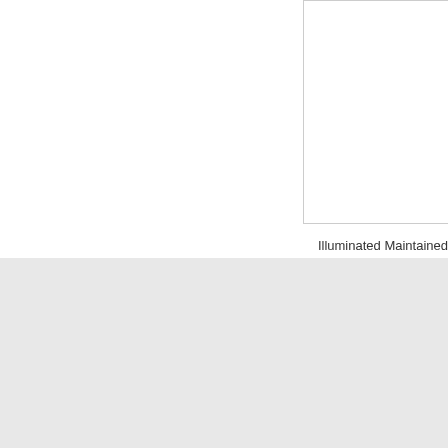[Figure (photo): Illuminated Maintained Button (22mm) - partial product image, cropped at top-right of page]
Illuminated Maintained Button (22mm)
Copyright © 2014 SCL System